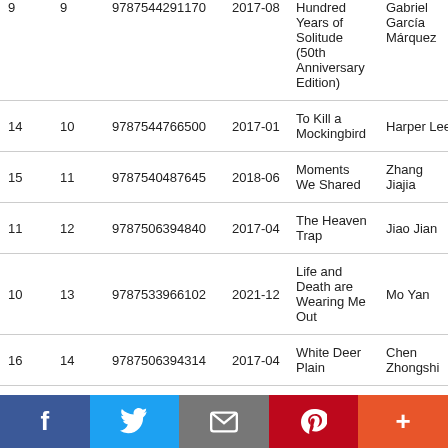|  |  | ISBN | Date | Title | Author |  |
| --- | --- | --- | --- | --- | --- | --- |
| 9 | 9 | 9787544291170 | 2017-08 | Hundred Years of Solitude (50th Anniversary Edition) | Gabriel García Márquez |  |
| 14 | 10 | 9787544766500 | 2017-01 | To Kill a Mockingbird | Harper Lee |  |
| 15 | 11 | 9787540487645 | 2018-06 | Moments We Shared | Zhang Jiajia |  |
| 11 | 12 | 9787506394840 | 2017-04 | The Heaven Trap | Jiao Jian |  |
| 10 | 13 | 9787533966102 | 2021-12 | Life and Death are Wearing Me Out | Mo Yan |  |
| 16 | 14 | 9787506394314 | 2017-04 | White Deer Plain | Chen Zhongshi |  |
[Figure (other): Social sharing bar with Facebook, Twitter, Email, Pinterest, and More buttons]